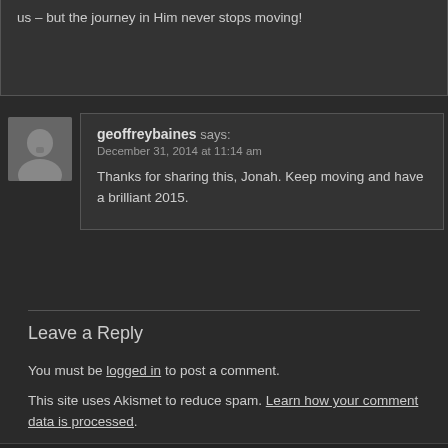us – but the journey in Him never stops moving!
geoffreybaines says:
December 31, 2014 at 11:14 am
Thanks for sharing this, Jonah. Keep moving and have a brilliant 2015.
Leave a Reply
You must be logged in to post a comment.
This site uses Akismet to reduce spam. Learn how your comment data is processed.